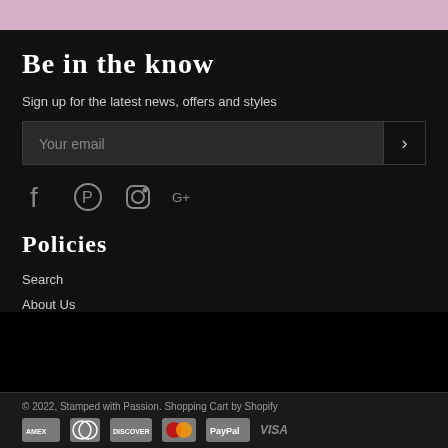[Figure (other): Pink decorative bar at top of page]
Be in the know
Sign up for the latest news, offers and styles
Your email
[Figure (other): Social media icons: Facebook, Pinterest, Instagram, Google+]
Policies
Search
About Us
© 2022, Stamped with Passion. Shopping Cart by Shopify
[Figure (other): Payment method icons: American Express, Diners Club, Discover, Mastercard, PayPal, Visa]